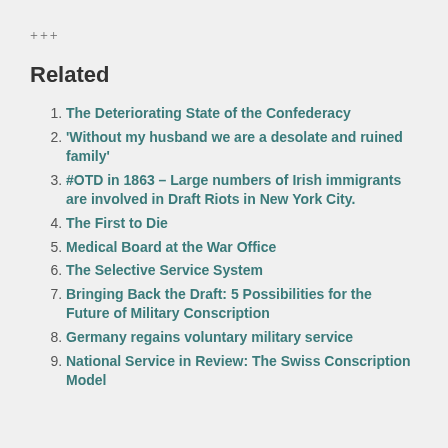+++
Related
The Deteriorating State of the Confederacy
'Without my husband we are a desolate and ruined family'
#OTD in 1863 – Large numbers of Irish immigrants are involved in Draft Riots in New York City.
The First to Die
Medical Board at the War Office
The Selective Service System
Bringing Back the Draft: 5 Possibilities for the Future of Military Conscription
Germany regains voluntary military service
National Service in Review: The Swiss Conscription Model